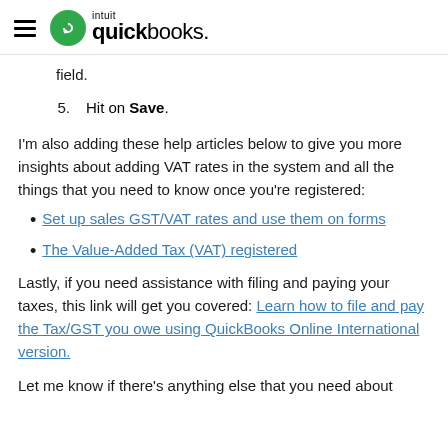Intuit QuickBooks
field.
5. Hit on Save.
I'm also adding these help articles below to give you more insights about adding VAT rates in the system and all the things that you need to know once you're registered:
Set up sales GST/VAT rates and use them on forms
The Value-Added Tax (VAT) registered
Lastly, if you need assistance with filing and paying your taxes, this link will get you covered: Learn how to file and pay the Tax/GST you owe using QuickBooks Online International version.
Let me know if there's anything else that you need about